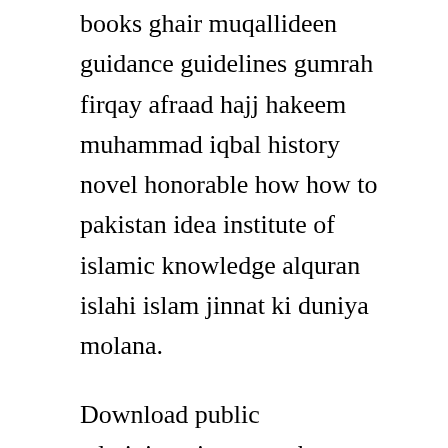books ghair muqallideen guidance guidelines gumrah firqay afraad hajj hakeem muhammad iqbal history novel honorable how how to pakistan idea institute of islamic knowledge alquran islahi islam jinnat ki duniya molana.
Download public administration notes by topper ashish. Ashish agrawal had scored 209 th rank, and at present, he is undergoing training for indian revenue service irsit. The analyses reported in this book are based on spss version 11. The expression achieved terminological stardom in the 1990s and was